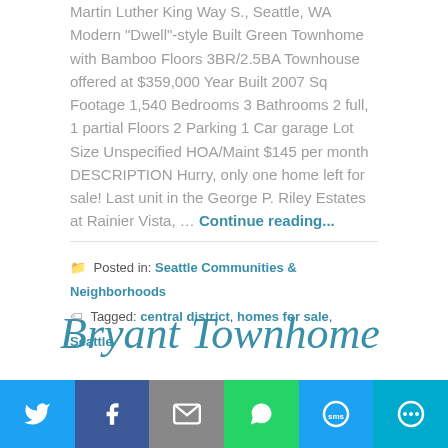Martin Luther King Way S., Seattle, WA Modern "Dwell"-style Built Green Townhome with Bamboo Floors 3BR/2.5BA Townhouse offered at $359,000 Year Built 2007 Sq Footage 1,540 Bedrooms 3 Bathrooms 2 full, 1 partial Floors 2 Parking 1 Car garage Lot Size Unspecified HOA/Maint $145 per month DESCRIPTION Hurry, only one home left for sale! Last unit in the George P. Riley Estates at Rainier Vista, … Continue reading...
Posted in: Seattle Communities & Neighborhoods
Tagged: central district, homes for sale, Seattle
Bryant Townhome
[Figure (infographic): Social sharing bar with Twitter, Facebook, Email, WhatsApp, SMS, and More buttons]